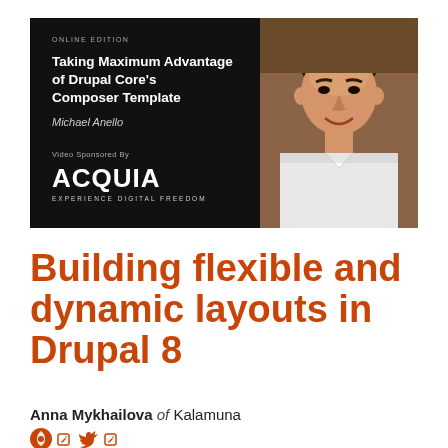[Figure (screenshot): Video thumbnail with black background showing: title 'Taking Maximum Advantage of Drupal Core's Composer Template', author 'Michael Anello', 'Video Sponsored By Acquia - Experience Digital Freedom' text and logo, alongside a photo of a smiling man in a white shirt]
Building flexible and dynamic layouts in Drupal 8
Anna Mykhailova of Kalamuna